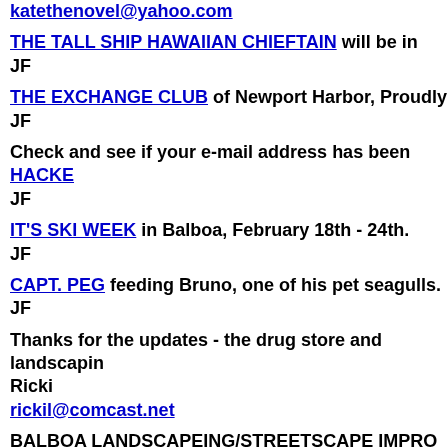katethenovel@yahoo.com
THE TALL SHIP HAWAIIAN CHIEFTAIN will be in JF
THE EXCHANGE CLUB of Newport Harbor, Proudly JF
Check and see if your e-mail address has been HACKE JF
IT'S SKI WEEK in Balboa, February 18th - 24th. JF
CAPT. PEG feeding Bruno, one of his pet seagulls. JF
Thanks for the updates - the drug store and landscapin Ricki rickil@comcast.net
BALBOA LANDSCAPEING/STREETSCAPE IMPRO